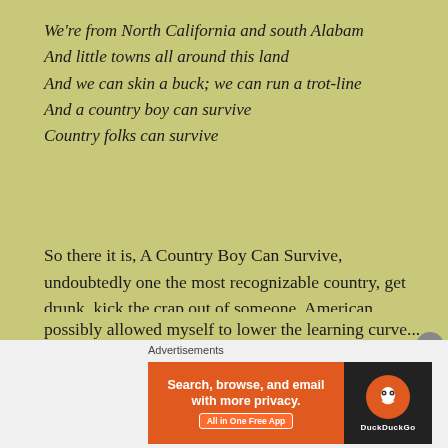We're from North California and south Alabam
And little towns all around this land
And we can skin a buck; we can run a trot-line
And a country boy can survive
Country folks can survive
So there it is, A Country Boy Can Survive, undoubtedly one the most recognizable country, get drunk, kick the crap out of someone, American redneck songs! So why tonight of all nights am I so infatuated with reliving my youths past digressions?  What can I possibly see in a 30-year-old song that I never considered before tonight?  How could I have possibly allowed myself to lower the learning curve...
Advertisements
[Figure (screenshot): DuckDuckGo advertisement banner: orange background with text 'Search, browse, and email with more privacy. All in One Free App' and DuckDuckGo logo on dark background on the right.]